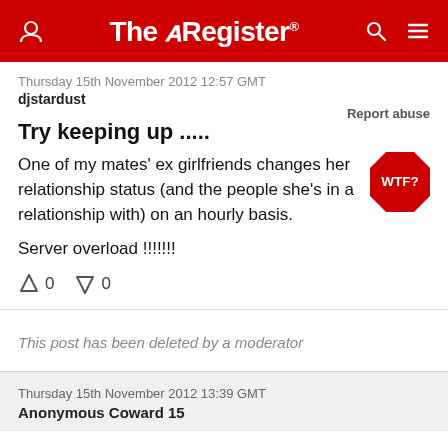The Register
Thursday 15th November 2012 12:57 GMT
djstardust
Report abuse
Try keeping up .....
[Figure (logo): WTF? red octagon badge]
One of my mates' ex girlfriends changes her relationship status (and the people she's in a relationship with) on an hourly basis.
Server overload !!!!!!!!
0  0
This post has been deleted by a moderator
Thursday 15th November 2012 13:39 GMT
Anonymous Coward 15